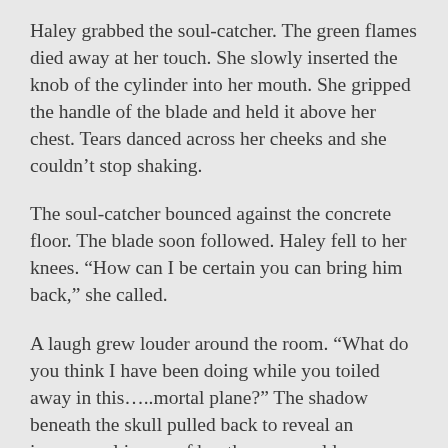Haley grabbed the soul-catcher. The green flames died away at her touch. She slowly inserted the knob of the cylinder into her mouth. She gripped the handle of the blade and held it above her chest. Tears danced across her cheeks and she couldn't stop shaking.
The soul-catcher bounced against the concrete floor. The blade soon followed. Haley fell to her knees. “How can I be certain you can bring him back,” she called.
A laugh grew louder around the room. “What do you think I have been doing while you toiled away in this…..mortal plane?” The shadow beneath the skull pulled back to reveal an incorporeal image of her three-year-old son.
“Danny,” she yelled.
“He does not have the ability to hear you in this form. Complete the task and he will take on a new form in this